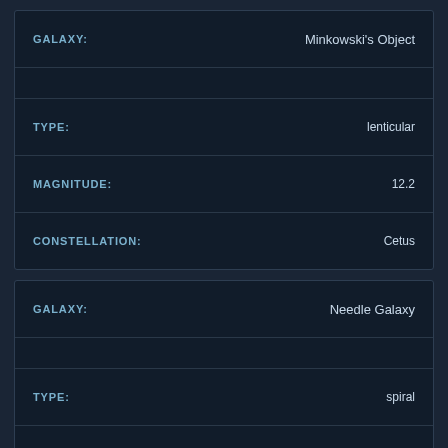| Field | Value |
| --- | --- |
| GALAXY: | Minkowski's Object |
|  |  |
| TYPE: | lenticular |
| MAGNITUDE: | 12.2 |
| CONSTELLATION: | Cetus |
| Field | Value |
| --- | --- |
| GALAXY: | Needle Galaxy |
|  |  |
| TYPE: | spiral |
| MAGNITUDE: | 1042 |
| CONSTELLATION: | Coma Berenices |
| Field | Value |
| --- | --- |
| GALAXY: | Pegasus Dwarf |